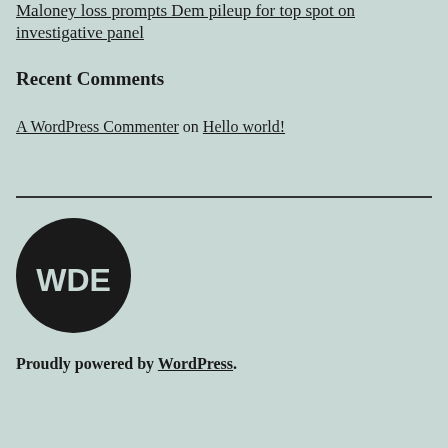Maloney loss prompts Dem pileup for top spot on investigative panel
Recent Comments
A WordPress Commenter on Hello world!
[Figure (logo): Black circular logo with white letters WDE]
Proudly powered by WordPress.